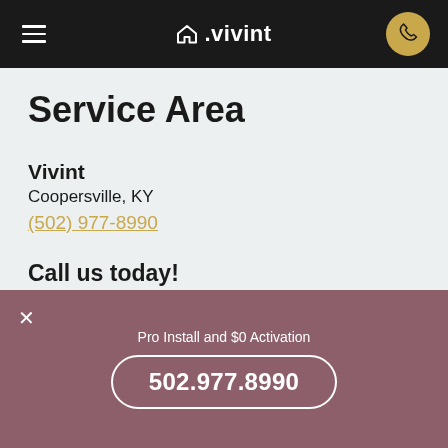vivint
Service Area
Vivint
Coopersville, KY
(502) 977-8990
Call us today!
Mon-Fri   6am-11pm MT
Saturday  9am-9pm MT
Sunday    7am-9pm MT
Pro Install and $0 Activation
502.977.8990